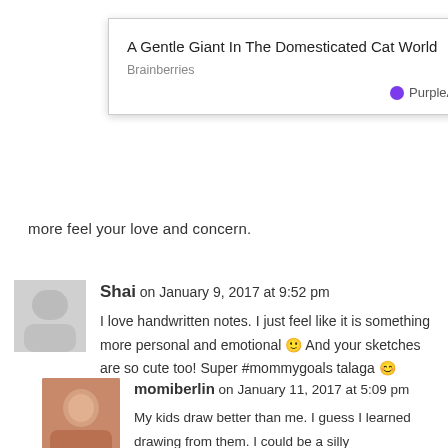[Figure (screenshot): Ad popup overlay showing 'A Gentle Giant In The Domesticated Cat World' from Brainberries, with PurpleAds branding and close button]
more feel your love and concern.
Shai on January 9, 2017 at 9:52 pm
I love handwritten notes. I just feel like it is something more personal and emotional 🙂 And your sketches are so cute too! Super #mommygoals talaga 😊
momiberlin on January 11, 2017 at 5:09 pm
My kids draw better than me. I guess I learned drawing from them. I could be a silly